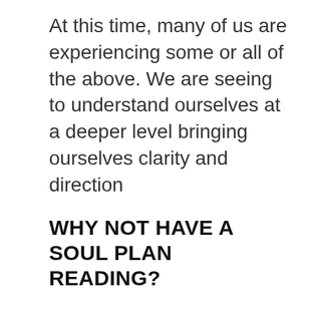At this time, many of us are experiencing some or all of the above. We are seeing to understand ourselves at a deeper level bringing ourselves clarity and direction
WHY NOT HAVE A SOUL PLAN READING?
Soul Plan Readings a way to look at our life purpose. To see our GIFTS and our CHALLENGES